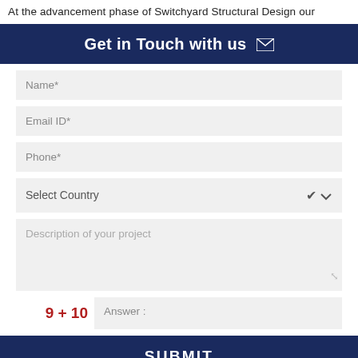At the advancement phase of Switchyard Structural Design our
Get in Touch with us
Name*
Email ID*
Phone*
Select Country
Description of your project
9 + 10   Answer :
SUBMIT